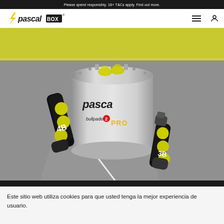Please spend responsibly. 18+ T&Cs apply. Find out more.
[Figure (logo): Pascal Box logo with lightning bolt in yellow, italic bold text 'pascal' with 'BOX' in a dark badge]
[Figure (photo): Product photo showing a cylindrical aluminum ball pressurizer labeled 'pascal PROBOX' by Bullpadel, with two tube containers of fluorescent yellow padel balls on either side (labeled 4B and 3B), placed on a padel court surface]
Este sitio web utiliza cookies para que usted tenga la mejor experiencia de usuario.